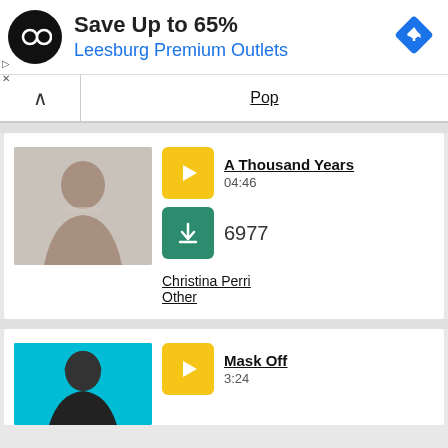[Figure (infographic): Ad banner: black circular logo with infinity-like symbol, text 'Save Up to 65%' in bold black, 'Leesburg Premium Outlets' in blue, blue diamond navigation icon on right]
Pop
A Thousand Years
04:46
6977
Christina Perri
Other
Mask Off
3:24